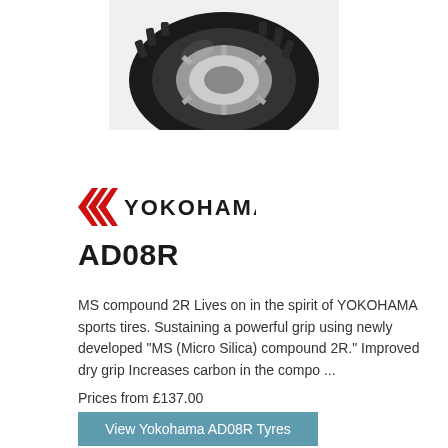[Figure (photo): Yokohama tyre product photo showing tread and wheel rim, partially cropped at top]
[Figure (logo): Yokohama logo with red chevron arrows and bold black YOKOHAMA text]
AD08R
MS compound 2R Lives on in the spirit of YOKOHAMA sports tires. Sustaining a powerful grip using newly developed “MS (Micro Silica) compound 2R.” Improved dry grip Increases carbon in the compo ...
Prices from £137.00
View Yokohama AD08R Tyres